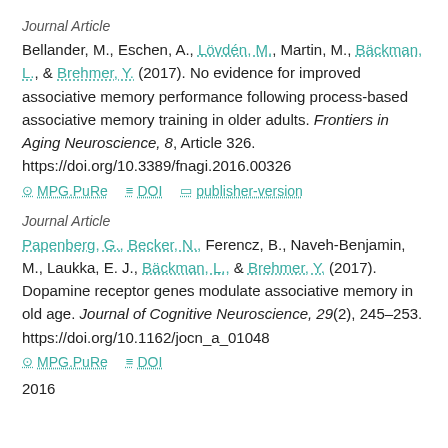Journal Article
Bellander, M., Eschen, A., Lövdén, M., Martin, M., Bäckman, L., & Brehmer, Y. (2017). No evidence for improved associative memory performance following process-based associative memory training in older adults. Frontiers in Aging Neuroscience, 8, Article 326. https://doi.org/10.3389/fnagi.2016.00326
MPG.PuRe   DOI   publisher-version
Journal Article
Papenberg, G., Becker, N., Ferencz, B., Naveh-Benjamin, M., Laukka, E. J., Bäckman, L., & Brehmer, Y. (2017). Dopamine receptor genes modulate associative memory in old age. Journal of Cognitive Neuroscience, 29(2), 245–253. https://doi.org/10.1162/jocn_a_01048
MPG.PuRe   DOI
2016